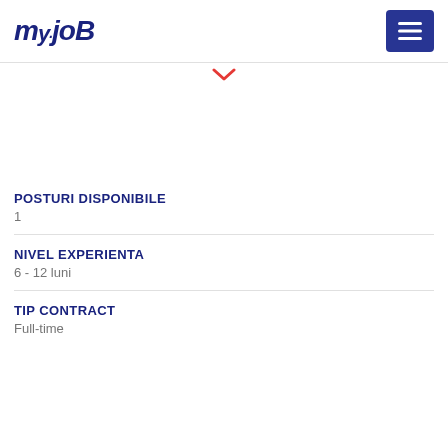myJob
POSTURI DISPONIBILE
1
NIVEL EXPERIENTA
6 - 12 luni
TIP CONTRACT
Full-time